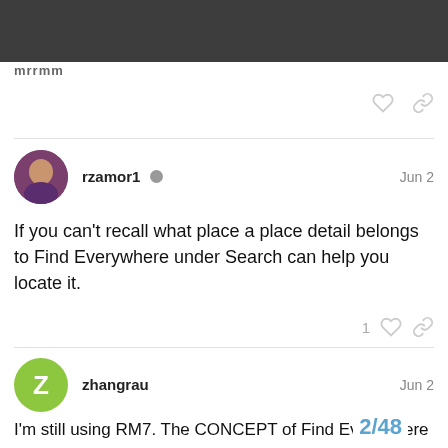mrrmm
rzamor1 · Jun 2
If you can't recall what place a place detail belongs to Find Everywhere under Search can help you locate it.
zhangrau · Jun 2
I'm still using RM7. The CONCEPT of Find Everywhere is appealing. It's just not practical. In my database. it takes over 90 minutes to do a Find Everywhere searc tremendously improved by providing a se
2/48